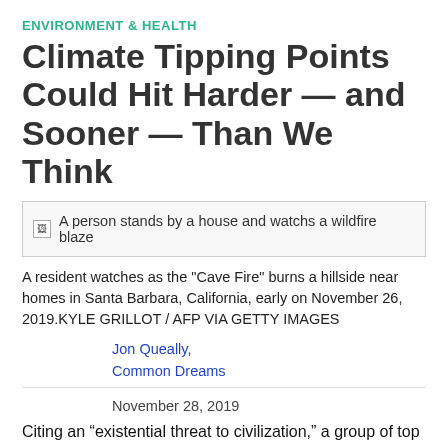ENVIRONMENT & HEALTH
Climate Tipping Points Could Hit Harder — and Sooner — Than We Think
[Figure (photo): A person stands by a house and watchs a wildfire blaze]
A resident watches as the "Cave Fire" burns a hillside near homes in Santa Barbara, California, early on November 26, 2019.KYLE GRILLOT / AFP VIA GETTY IMAGES
Jon Queally,
Common Dreams
November 28, 2019
Citing an “existential threat to civilization,” a group of top climate scientists have put out a new paper warning that